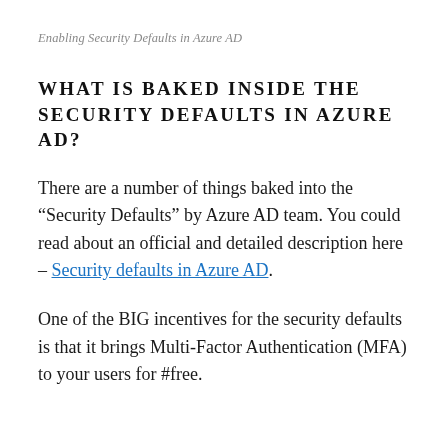Enabling Security Defaults in Azure AD
WHAT IS BAKED INSIDE THE SECURITY DEFAULTS IN AZURE AD?
There are a number of things baked into the “Security Defaults” by Azure AD team. You could read about an official and detailed description here – Security defaults in Azure AD.
One of the BIG incentives for the security defaults is that it brings Multi-Factor Authentication (MFA) to your users for #free.